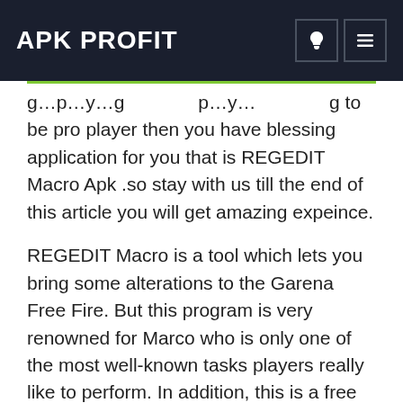APK PROFIT
g…p…y…g…p…y…g to be pro player then you have blessing application for you that is REGEDIT Macro Apk .so stay with us till the end of this article you will get amazing expeince.
REGEDIT Macro is a tool which lets you bring some alterations to the Garena Free Fire. But this program is very renowned for Marco who is only one of the most well-known tasks players really like to perform. In addition, this is a free program which also permits you to personalize sensitivity Some of you will know concerning the Macro and a number of you might not.